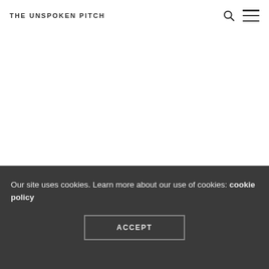THE UNSPOKEN PITCH
Our site uses cookies. Learn more about our use of cookies: cookie policy
ACCEPT